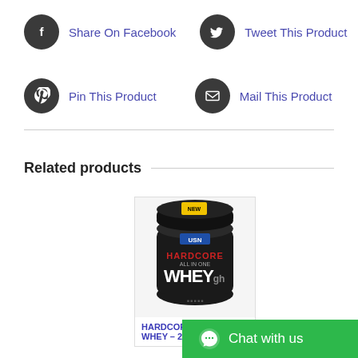Share On Facebook
Tweet This Product
Pin This Product
Mail This Product
Related products
[Figure (photo): USN Hardcore Whey GH 2KG protein powder tub with 'NEW' label on lid]
HARDCORE WHEY – 2KG.